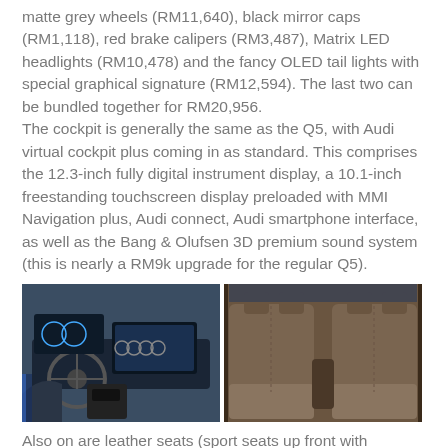matte grey wheels (RM11,640), black mirror caps (RM1,118), red brake calipers (RM3,487), Matrix LED headlights (RM10,478) and the fancy OLED tail lights with special graphical signature (RM12,594). The last two can be bundled together for RM20,956.
The cockpit is generally the same as the Q5, with Audi virtual cockpit plus coming in as standard. This comprises the 12.3-inch fully digital instrument display, a 10.1-inch freestanding touchscreen display preloaded with MMI Navigation plus, Audi connect, Audi smartphone interface, as well as the Bang & Olufsen 3D premium sound system (this is nearly a RM9k upgrade for the regular Q5).
[Figure (photo): Two side-by-side car interior photos of an Audi Q5. Left photo shows the driver cockpit with steering wheel, digital instrument display, and center console. Right photo shows the rear passenger seats with leather upholstery.]
Also on are leather seats (sport seats up front with